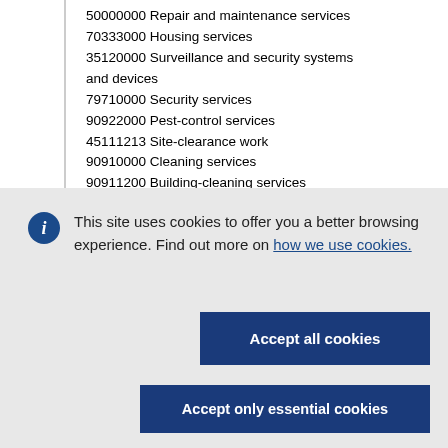50000000 Repair and maintenance services
70333000 Housing services
35120000 Surveillance and security systems and devices
79710000 Security services
90922000 Pest-control services
45111213 Site-clearance work
90910000 Cleaning services
90911200 Building-cleaning services
This site uses cookies to offer you a better browsing experience. Find out more on how we use cookies.
Accept all cookies
Accept only essential cookies